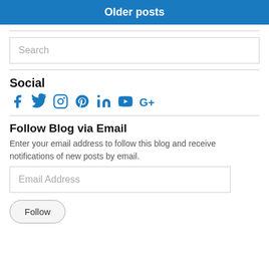Older posts
Search
Social
[Figure (infographic): Social media icons: Facebook, Twitter, Instagram, Pinterest, LinkedIn, YouTube, Google+]
Follow Blog via Email
Enter your email address to follow this blog and receive notifications of new posts by email.
Email Address
Follow